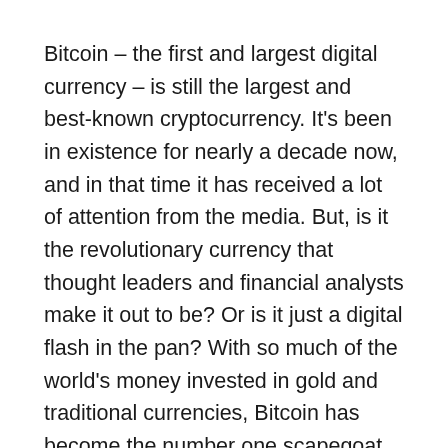Bitcoin – the first and largest digital currency – is still the largest and best-known cryptocurrency. It's been in existence for nearly a decade now, and in that time it has received a lot of attention from the media. But, is it the revolutionary currency that thought leaders and financial analysts make it out to be? Or is it just a digital flash in the pan? With so much of the world's money invested in gold and traditional currencies, Bitcoin has become the number one scapegoat for investors looking to make a quick buck.
Bitcoin is slowly but surely becoming more mainstream. Over the past few months, we've